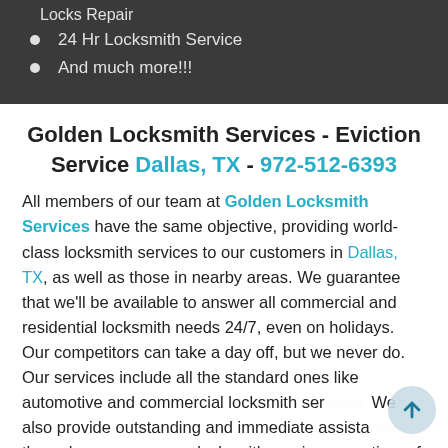Locks Repair
24 Hr Locksmith Service
And much more!!!
Golden Locksmith Services - Eviction Service Dallas, TX - 972-512-6393
All members of our team at Golden Locksmith Services have the same objective, providing world-class locksmith services to our customers in Dallas, TX, as well as those in nearby areas. We guarantee that we'll be available to answer all commercial and residential locksmith needs 24/7, even on holidays. Our competitors can take a day off, but we never do. Our services include all the standard ones like automotive and commercial locksmith ser... We also provide outstanding and immediate assista... through our emergency locksmith services, any time of